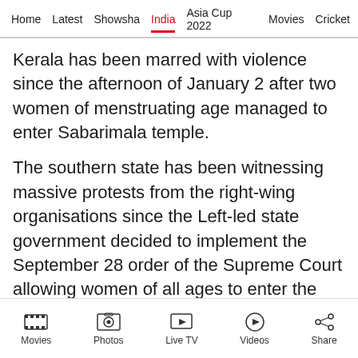Home | Latest | Showsha | India | Asia Cup 2022 | Movies | Cricket
Kerala has been marred with violence since the afternoon of January 2 after two women of menstruating age managed to enter Sabarimala temple.
The southern state has been witnessing massive protests from the right-wing organisations since the Left-led state government decided to implement the September 28 order of the Supreme Court allowing women of all ages to enter the centuries-old temple.
Movies | Photos | Live TV | Videos | Share